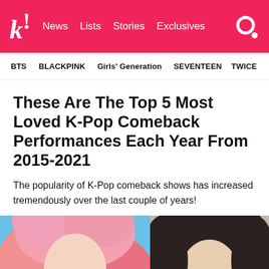k! News Lists Stories Exclusives
BTS   BLACKPINK   Girls' Generation   SEVENTEEN   TWICE
These Are The Top 5 Most Loved K-Pop Comeback Performances Each Year From 2015-2021
The popularity of K-Pop comeback shows has increased tremendously over the last couple of years!
[Figure (photo): Two K-Pop female artists side by side: left person with pink hair, right person with dark hair]